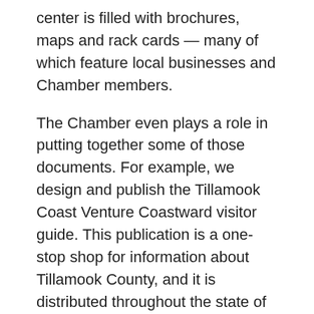center is filled with brochures, maps and rack cards — many of which feature local businesses and Chamber members.
The Chamber even plays a role in putting together some of those documents. For example, we design and publish the Tillamook Coast Venture Coastward visitor guide. This publication is a one-stop shop for information about Tillamook County, and it is distributed throughout the state of Oregon and beyond. In fact, we fill more than 15,000 leads to states all over the country every year.
One of my favorite things about the Venture Coastward guide is that is really drives home the idea that visitors should become “temporary locals” and take care of this place in the same way we do. We want visitors who care about our cultural heritage and history, and follow natural...